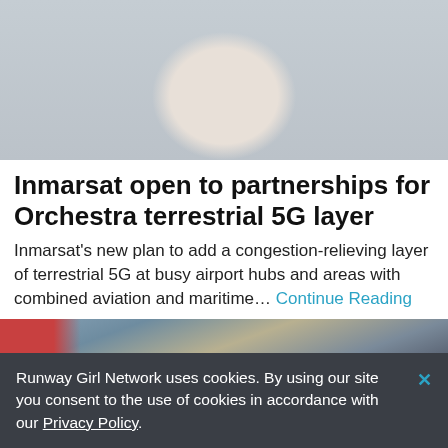[Figure (photo): Cropped photo of a man in a dark suit, visible from shoulders to chin, light gray background]
Inmarsat open to partnerships for Orchestra terrestrial 5G layer
Inmarsat’s new plan to add a congestion-relieving layer of terrestrial 5G at busy airport hubs and areas with combined aviation and maritime… Continue Reading
[Figure (photo): Street-level photo of tall glass skyscrapers and city buildings with billboard displays, urban scene, partial view]
Runway Girl Network uses cookies. By using our site you consent to the use of cookies in accordance with our Privacy Policy.